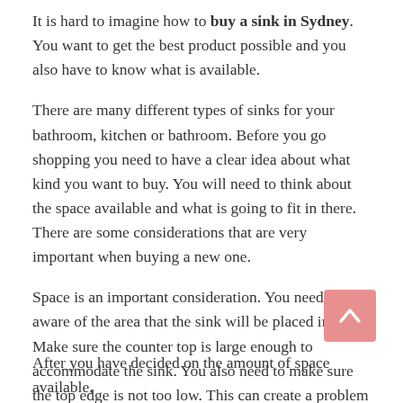It is hard to imagine how to buy a sink in Sydney. You want to get the best product possible and you also have to know what is available.
There are many different types of sinks for your bathroom, kitchen or bathroom. Before you go shopping you need to have a clear idea about what kind you want to buy. You will need to think about the space available and what is going to fit in there. There are some considerations that are very important when buying a new one.
Space is an important consideration. You need to be aware of the area that the sink will be placed in. Make sure the counter top is large enough to accommodate the sink. You also need to make sure the top edge is not too low. This can create a problem in the future if you need to use it again.
[Figure (other): Pink/salmon colored scroll-to-top button with upward chevron arrow]
After you have decided on the amount of space available,